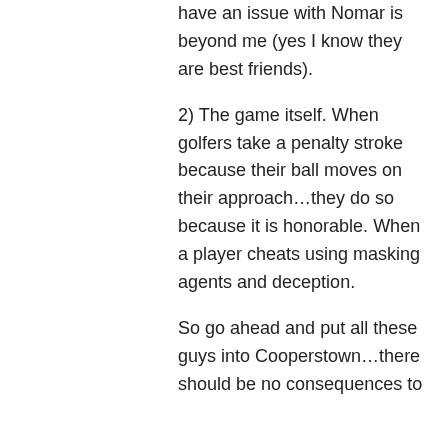have an issue with Nomar is beyond me (yes I know they are best friends).
2) The game itself. When golfers take a penalty stroke because their ball moves on their approach…they do so because it is honorable. When a player cheats using masking agents and deception.
So go ahead and put all these guys into Cooperstown…there should be no consequences to